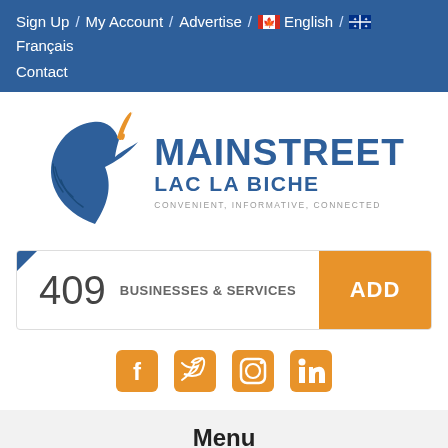Sign Up / My Account / Advertise / 🇨🇦 English 🏳️ Français / Contact
[Figure (logo): Mainstreet Lac La Biche logo with stylized pelican/bird icon in blue and orange, text reading MAINSTREET LAC LA BICHE, tagline: CONVENIENT, INFORMATIVE, CONNECTED]
409 BUSINESSES & SERVICES  ADD
[Figure (infographic): Social media icons row: Facebook, Twitter, Instagram, LinkedIn — all in orange]
Menu